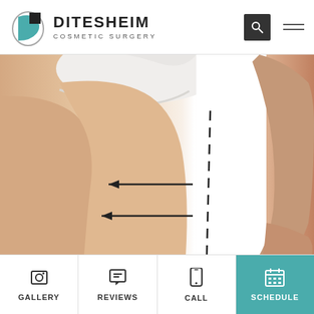[Figure (logo): Ditesheim Cosmetic Surgery logo with teal D letter icon and wordmark]
[Figure (photo): Woman's torso and arm with surgical planning markings — dashed lines and arrows indicating liposuction areas on the side/hip region]
GALLERY
REVIEWS
CALL
SCHEDULE